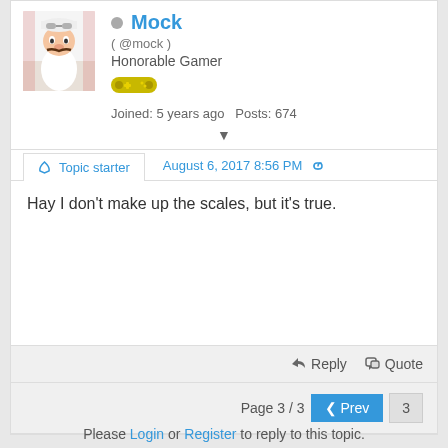[Figure (photo): Avatar image of user Mock - a Mario-like character in white outfit]
Mock
( @mock )
Honorable Gamer
[Figure (illustration): Gamepad/controller badge icon in gold/yellow color]
Joined: 5 years ago   Posts: 674
Topic starter   August 6, 2017 8:56 PM
Hay I don't make up the scales, but it's true.
Reply   Quote
Page 3 / 3  ‹ Prev  3
Please Login or Register to reply to this topic.